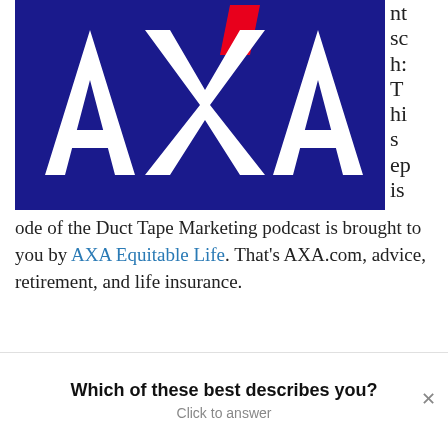[Figure (logo): AXA logo — white AXA letters on dark navy/blue background with red accent slash above]
nt sc h: T hi s ep is ode of the Duct Tape Marketing podcast is brought to you by AXA Equitable Life. That's AXA.com, advice, retirement, and life insurance.
John Jantsch: Hello, and welcome to
Which of these best describes you?
Click to answer